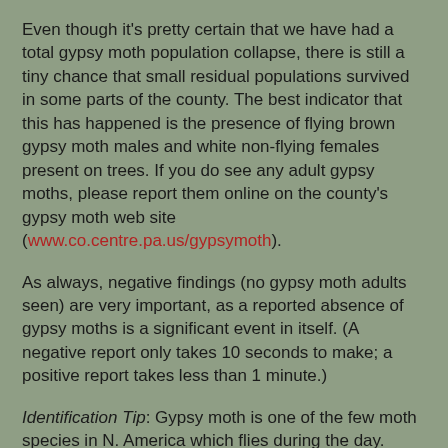Even though it's pretty certain that we have had a total gypsy moth population collapse, there is still a tiny chance that small residual populations survived in some parts of the county. The best indicator that this has happened is the presence of flying brown gypsy moth males and white non-flying females present on trees. If you do see any adult gypsy moths, please report them online on the county's gypsy moth web site (www.co.centre.pa.us/gypsymoth).
As always, negative findings (no gypsy moth adults seen) are very important, as a reported absence of gypsy moths is a significant event in itself. (A negative report only takes 10 seconds to make; a positive report takes less than 1 minute.)
Identification Tip: Gypsy moth is one of the few moth species in N. America which flies during the day. Another telltale sign that it's a gypsy moth is its zigzag flight path as it tracks the scent of the pheromone produced by the female. See the web site for pictures of male and female moths. (Edited from the Centre County Gypsy Moth Coordinator - Gypsy Moth News, July 2009)